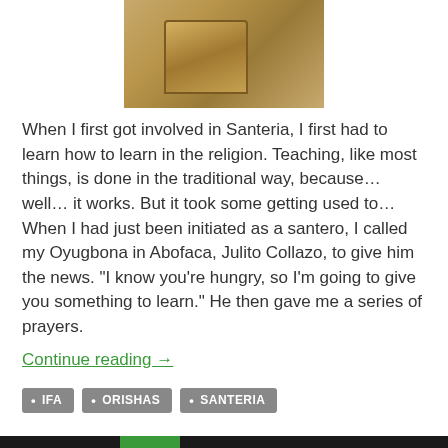[Figure (photo): Partial photo of a person wearing a tan/gold jacket and tie, cropped at top]
When I first got involved in Santeria, I first had to learn how to learn in the religion. Teaching, like most things, is done in the traditional way, because… well… it works. But it took some getting used to…
When I had just been initiated as a santero, I called my Oyugbona in Abofaca, Julito Collazo, to give him the news. "I know you're hungry, so I'm going to give you something to learn." He then gave me a series of prayers.
Continue reading →
IFA
ORISHAS
SANTERIA